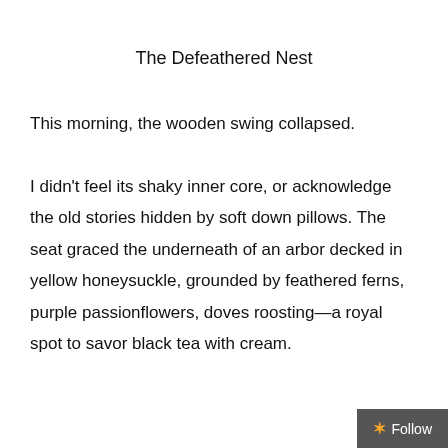The Defeathered Nest
This morning, the wooden swing collapsed.

I didn't feel its shaky inner core, or acknowledge the old stories hidden by soft down pillows. The seat graced the underneath of an arbor decked in yellow honeysuckle, grounded by feathered ferns, purple passionflowers, doves roosting—a royal spot to savor black tea with cream.